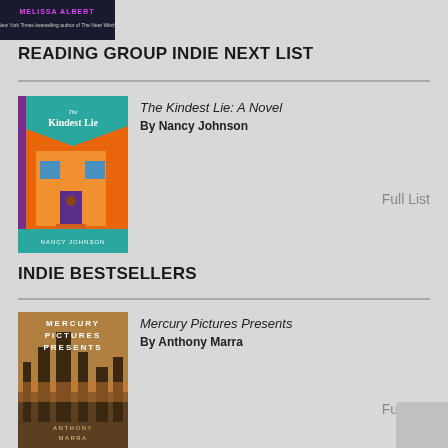[Figure (illustration): Top portion of a book cover with author name MELISSA ALBERT in pink/magenta text on dark background]
READING GROUP INDIE NEXT LIST
[Figure (illustration): Book cover for The Kindest Lie: A Novel by Nancy Johnson - colorful illustration of a house with orange/red background]
The Kindest Lie: A Novel
By Nancy Johnson
Full List
INDIE BESTSELLERS
[Figure (illustration): Book cover for Mercury Pictures Presents by Anthony Marra - dark moody cityscape cover]
Mercury Pictures Presents
By Anthony Marra
Full List